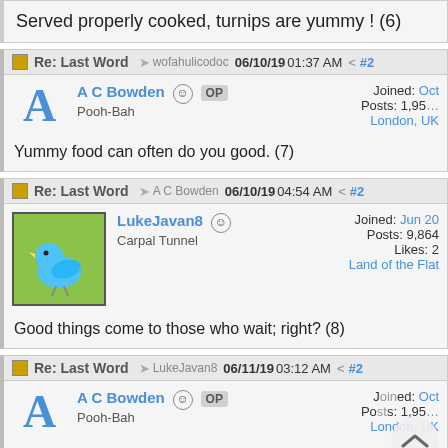Served properly cooked, turnips are yummy ! (6)
Re: Last Word — wofahulicodoc 06/10/19 01:37 AM #2
A C Bowden OP Pooh-Bah | Joined: Oct Posts: 1,95 London, UK
Yummy food can often do you good. (7)
Re: Last Word — A C Bowden 06/10/19 04:54 AM #2
LukeJavan8 Carpal Tunnel | Joined: Jun 20 Posts: 9,864 Likes: 2 Land of the Flat
Good things come to those who wait; right? (8)
Re: Last Word — LukeJavan8 06/11/19 03:12 AM #2
A C Bowden OP Pooh-Bah | Joined: Oct Posts: 1,95 London, UK
Right, the next bdi...